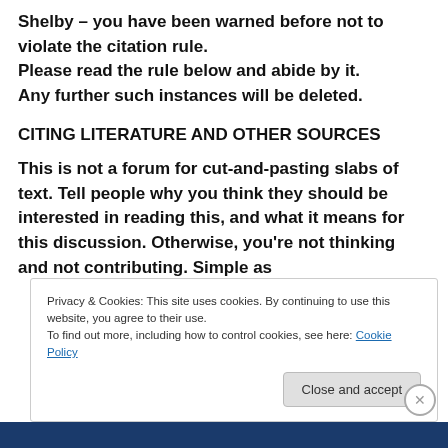Shelby – you have been warned before not to violate the citation rule. Please read the rule below and abide by it. Any further such instances will be deleted.
CITING LITERATURE AND OTHER SOURCES
This is not a forum for cut-and-pasting slabs of text. Tell people why you think they should be interested in reading this, and what it means for this discussion. Otherwise, you're not thinking and not contributing. Simple as
Privacy & Cookies: This site uses cookies. By continuing to use this website, you agree to their use. To find out more, including how to control cookies, see here: Cookie Policy
Close and accept